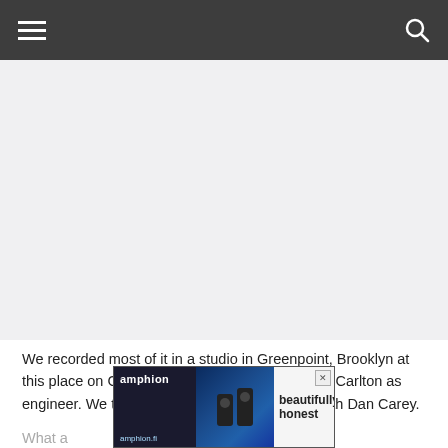Navigation header with hamburger menu and search icon
[Figure (other): Large advertisement placeholder area, light gray background]
We recorded most of it in a studio in Greenpoint, Brooklyn at this place on Guernsey Street, with our buddy Al Carlton as engineer. We then went to London and mixed with Dan Carey.
What a... instruments are used on the...
[Figure (other): Amphion audio advertisement banner showing speakers and text 'beautifully honest', with amphion.fi URL]